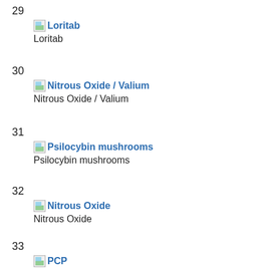29 Loritab
30 Nitrous Oxide / Valium
31 Psilocybin mushrooms
32 Nitrous Oxide
33 PCP